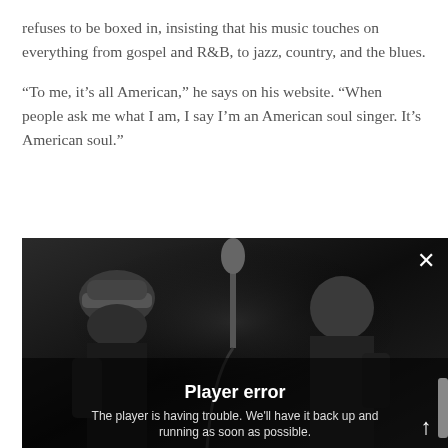refuses to be boxed in, insisting that his music touches on everything from gospel and R&B, to jazz, country, and the blues.
“To me, it’s all American,” he says on his website. “When people ask me what I am, I say I’m an American soul singer. It’s American soul.”
[Figure (screenshot): A video player showing two men singing into a microphone in a dark recording studio setting, displayed in black and white. An error overlay reads 'Player error' with the message 'The player is having trouble. We’ll have it back up and running as soon as possible.' An X close button is in the top right and an up arrow is in the bottom right.]